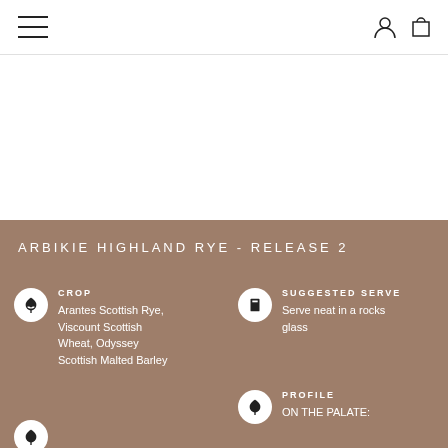Navigation bar with hamburger menu, user icon, and cart icon
ARBIKIE HIGHLAND RYE - RELEASE 2
CROP
Arantes Scottish Rye, Viscount Scottish Wheat, Odyssey Scottish Malted Barley
SUGGESTED SERVE
Serve neat in a rocks glass
PROFILE
ON THE PALATE: